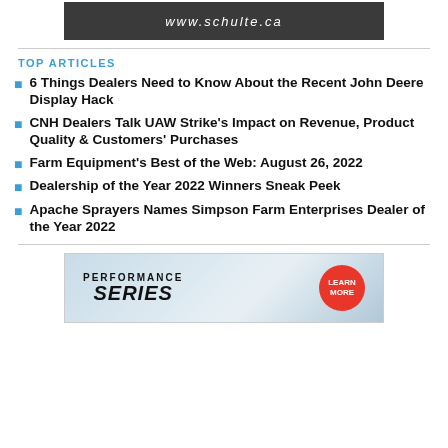[Figure (other): Advertisement banner showing www.schulte.ca website URL on dark background]
TOP ARTICLES
6 Things Dealers Need to Know About the Recent John Deere Display Hack
CNH Dealers Talk UAW Strike's Impact on Revenue, Product Quality & Customers' Purchases
Farm Equipment's Best of the Web: August 26, 2022
Dealership of the Year 2022 Winners Sneak Peek
Apache Sprayers Names Simpson Farm Enterprises Dealer of the Year 2022
[Figure (other): Advertisement for Performance Series with Learn More button]